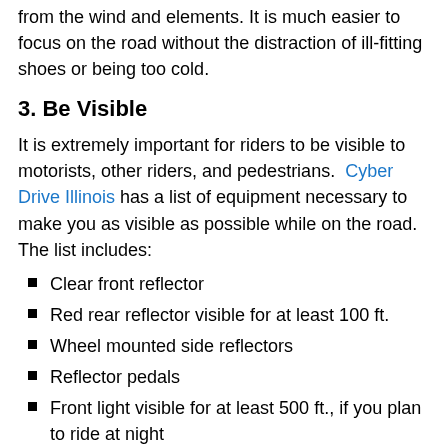from the wind and elements.  It is much easier to focus on the road without the distraction of ill-fitting shoes or being too cold.
3.  Be Visible
It is extremely important for riders to be visible to motorists, other riders, and pedestrians.  Cyber Drive Illinois has a list of equipment necessary to make you as visible as possible while on the road.  The list includes:
Clear front reflector
Red rear reflector visible for at least 100 ft.
Wheel mounted side reflectors
Reflector pedals
Front light visible for at least 500 ft., if you plan to ride at night